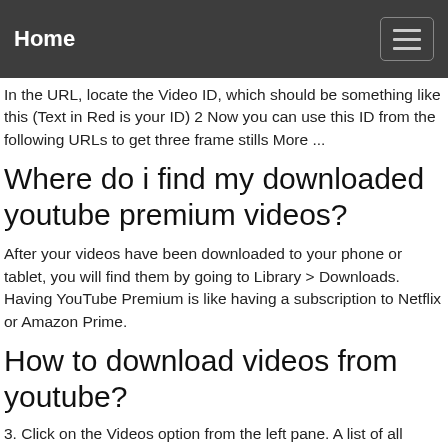Home
In the URL, locate the Video ID, which should be something like this (Text in Red is your ID) 2 Now you can use this ID from the following URLs to get three frame stills More ...
Where do i find my downloaded youtube premium videos?
After your videos have been downloaded to your phone or tablet, you will find them by going to Library > Downloads. Having YouTube Premium is like having a subscription to Netflix or Amazon Prime.
How to download videos from youtube?
3. Click on the Videos option from the left pane. A list of all videos you have uploaded to YouTube will appear. 4. Place the cursor over the video you want to download, click the three-dot